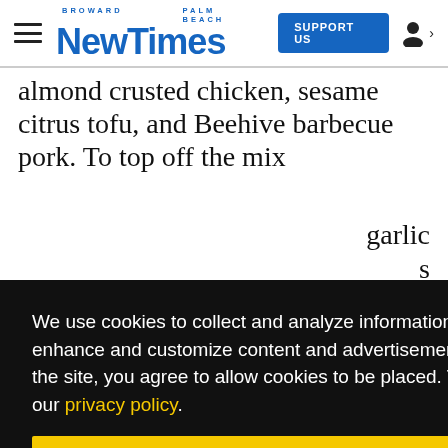Broward Palm Beach New Times — SUPPORT US
almond crusted chicken, sesame citrus tofu, and Beehive barbecue pork. To top off the mix
garlic s an
We use cookies to collect and analyze information on site performance and usage, and to enhance and customize content and advertisements. By clicking 'Got it' or continuing to use the site, you agree to allow cookies to be placed. To find out more, visit our cookies policy and our privacy policy.
ored with the ses luding rt
processing technology.